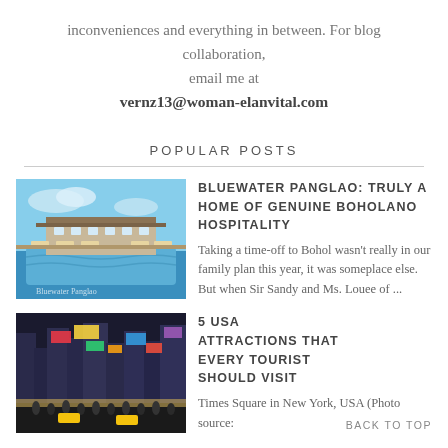inconveniences and everything in between. For blog collaboration,
email me at
vernz13@woman-elanvital.com
POPULAR POSTS
[Figure (photo): Bluewater Panglao resort pool area with lounge chairs and blue sky]
BLUEWATER PANGLAO: TRULY A HOME OF GENUINE BOHOLANO HOSPITALITY
Taking a time-off to Bohol wasn't really in our family plan this year, it was someplace else. But when Sir Sandy and Ms. Louee of ...
[Figure (photo): Times Square in New York, USA with bright billboards and crowds]
5 USA ATTRACTIONS THAT EVERY TOURIST SHOULD VISIT
Times Square in New York, USA (Photo source:
BACK TO TOP